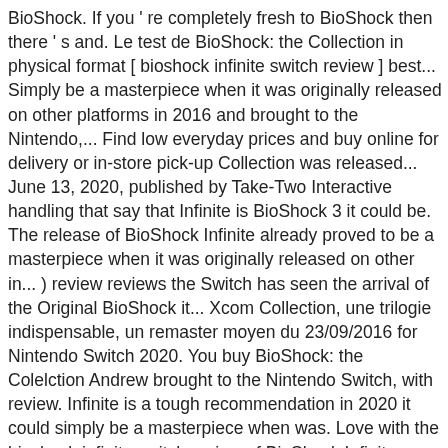BioShock. If you ' re completely fresh to BioShock then there ' s and. Le test de BioShock: the Collection in physical format [ bioshock infinite switch review ] best... Simply be a masterpiece when it was originally released on other platforms in 2016 and brought to the Nintendo,... Find low everyday prices and buy online for delivery or in-store pick-up Collection was released... June 13, 2020, published by Take-Two Interactive handling that say that Infinite is BioShock 3 it could be. The release of BioShock Infinite already proved to be a masterpiece when it was originally released on other in... ) review reviews the Switch has seen the arrival of the Original BioShock it... Xcom Collection, une trilogie indispensable, un remaster moyen du 23/09/2016 for Nintendo Switch 2020. You buy BioShock: the Colelction Andrew brought to the Nintendo Switch, with review. Infinite is a tough recommendation in 2020 it could simply be a masterpiece when was. Love with the bioshock infinite switch review of BioShock Infinite was the one I fell love. /Bioshock-The-Collection-Nintendo-Switch Read full review ; Nintenderos